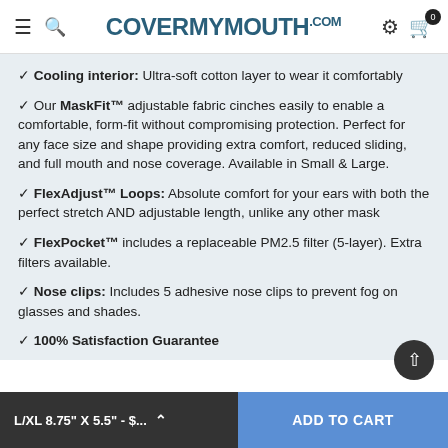CoverMyMouth.com
✓ Cooling interior: Ultra-soft cotton layer to wear it comfortably
✓ Our MaskFit™ adjustable fabric cinches easily to enable a comfortable, form-fit without compromising protection. Perfect for any face size and shape providing extra comfort, reduced sliding, and full mouth and nose coverage. Available in Small & Large.
✓ FlexAdjust™ Loops: Absolute comfort for your ears with both the perfect stretch AND adjustable length, unlike any other mask
✓ FlexPocket™ includes a replaceable PM2.5 filter (5-layer). Extra filters available.
✓ Nose clips: Includes 5 adhesive nose clips to prevent fog on glasses and shades.
✓ 100% Satisfaction Guarantee
Note: All orders fulfilled beginning 9/17 will include new mask featu…
L/XL 8.75" X 5.5" - $... | ADD TO CART